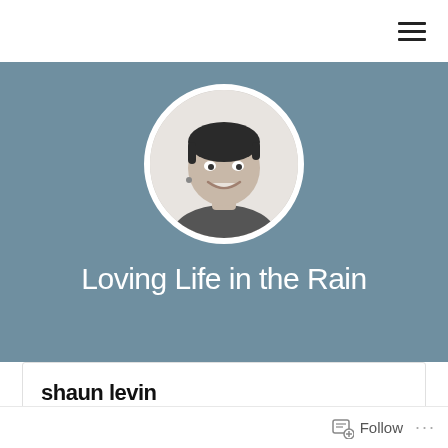[Figure (screenshot): Hamburger menu icon (three horizontal lines) in top right corner of a blog website header]
[Figure (photo): Circular cropped black and white portrait photo of a smiling person with short dark hair and an earring, set against a blue-grey banner background]
Loving Life in the Rain
shaun levin
[Figure (infographic): Follow button with a blog-follow icon and three dots (more options) in the bottom right of the page]